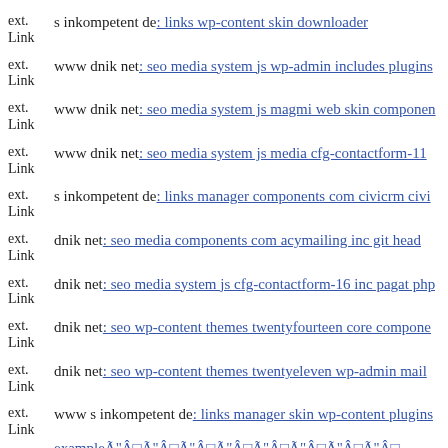ext. Link s inkompetent de: links wp-content skin downloader
ext. Link www dnik net: seo media system js wp-admin includes plugins
ext. Link www dnik net: seo media system js magmi web skin component
ext. Link www dnik net: seo media system js media cfg-contactform-11
ext. Link s inkompetent de: links manager components com civicrm civi
ext. Link dnik net: seo media components com acymailing inc git head
ext. Link dnik net: seo media system js cfg-contactform-16 inc pagat php
ext. Link dnik net: seo wp-content themes twentyfourteen core component
ext. Link dnik net: seo wp-content themes twentyeleven wp-admin mail
ext. Link www s inkompetent de: links manager skin wp-content plugins exampleÃ"Â□Ã"Â□Ã"Â□Ã"Â□Ã"Â□Ã"Â□Ã"Â□
ext. Link dnik net: seo wp-content plugins candidate-application-form dr